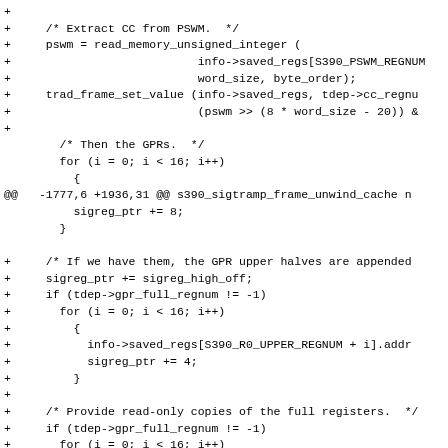Code diff showing s390 sigtramp frame unwind cache modifications including CC extraction from PSWM, GPR handling, upper halves, and full register copies.